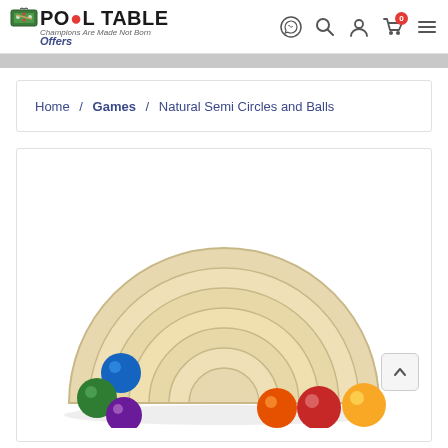Pool Table Offers — site header with logo and navigation icons
Home / Games / Natural Semi Circles and Balls
[Figure (photo): Wooden natural semi-circle stacking toy with 6 colored balls (blue, green, purple, orange, red, yellow) arranged in a rainbow arc shape on a white background]